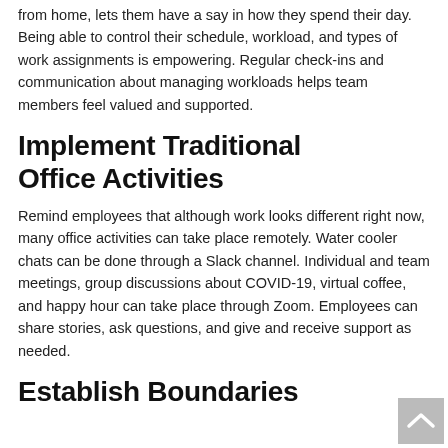from home, lets them have a say in how they spend their day. Being able to control their schedule, workload, and types of work assignments is empowering. Regular check-ins and communication about managing workloads helps team members feel valued and supported.
Implement Traditional Office Activities
Remind employees that although work looks different right now, many office activities can take place remotely. Water cooler chats can be done through a Slack channel. Individual and team meetings, group discussions about COVID-19, virtual coffee, and happy hour can take place through Zoom. Employees can share stories, ask questions, and give and receive support as needed.
Establish Boundaries